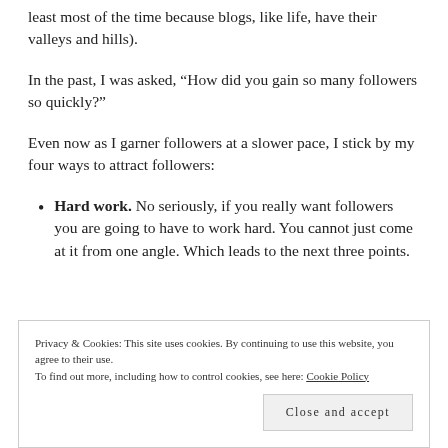least most of the time because blogs, like life, have their valleys and hills).
In the past, I was asked, “How did you gain so many followers so quickly?”
Even now as I garner followers at a slower pace, I stick by my four ways to attract followers:
Hard work. No seriously, if you really want followers you are going to have to work hard. You cannot just come at it from one angle. Which leads to the next three points.
Privacy & Cookies: This site uses cookies. By continuing to use this website, you agree to their use. To find out more, including how to control cookies, see here: Cookie Policy
Close and accept